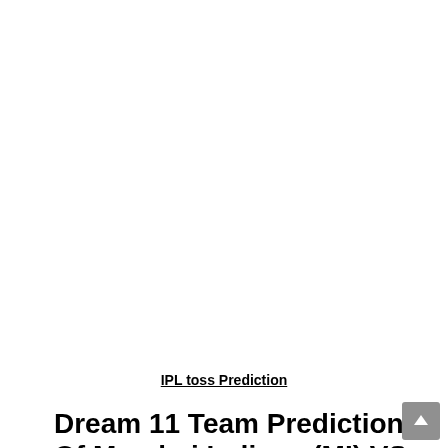IPL toss Prediction
Dream 11 Team Prediction Of Mumbai Indians (MI) VS Royal Challengers